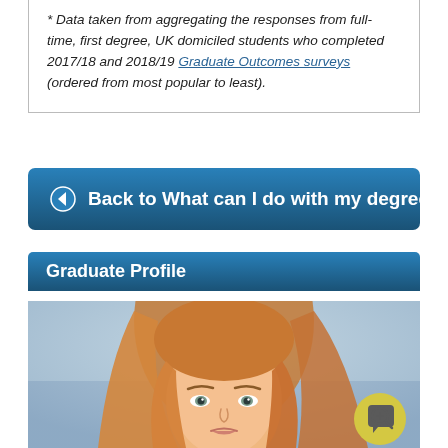* Data taken from aggregating the responses from full-time, first degree, UK domiciled students who completed 2017/18 and 2018/19 Graduate Outcomes surveys (ordered from most popular to least).
Back to What can I do with my degree?
Graduate Profile
[Figure (photo): Photo of a young woman with long blonde/reddish hair, looking upward, with a chat/speech bubble icon overlay in the bottom right corner on a yellow-green circle background.]